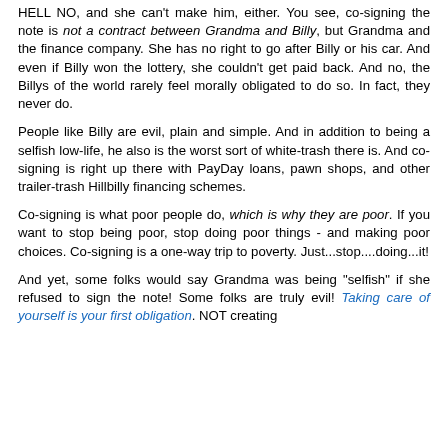HELL NO, and she can't make him, either.  You see, co-signing the note is not a contract between Grandma and Billy, but Grandma and the finance company.  She has no right to go after Billy or his car. And even if Billy won the lottery, she couldn't get paid back.  And no, the Billys of the world rarely feel morally obligated to do so.  In fact, they never do.
People like Billy are evil, plain and simple.  And in addition to being a selfish low-life, he also is the worst sort of white-trash there is.  And co-signing is right up there with PayDay loans, pawn shops, and other trailer-trash Hillbilly financing schemes.
Co-signing is what poor people do, which is why they are poor.  If you want to stop being poor, stop doing poor things - and making poor choices.  Co-signing is a one-way trip to poverty.  Just...stop....doing...it!
And yet, some folks would say Grandma was being "selfish" if she refused to sign the note!  Some folks are truly evil!  Taking care of yourself is your first obligation.  NOT creating